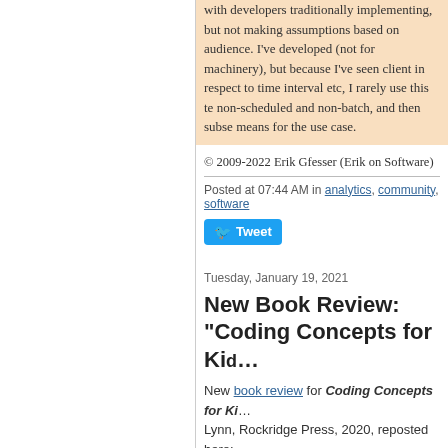with developers traditionally implementing, but not making assumptions based on audience. I've developed (not for machinery), but because I've seen client in respect to time interval etc, I rarely use this te non-scheduled and non-batch, and then subse means for the use case.
© 2009-2022 Erik Gfesser (Erik on Software)
Posted at 07:44 AM in analytics, community, software
Tweet
Tuesday, January 19, 2021
New Book Review: "Coding Concepts for Ki..."
New book review for Coding Concepts for Ki... Lynn, Rockridge Press, 2020, reposted here:
[Figure (photo): Book cover of 'Coding Concepts for Kids' - a blue cover with illustrated children and a large white arrow/play button graphic. Published by Rockridge Press, 2020.]